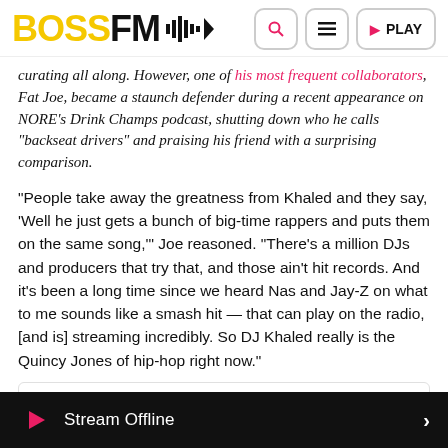BOSS FM [logo with waveform and play icon] | Search | Menu | PLAY
curating all along. However, one of his most frequent collaborators, Fat Joe, became a staunch defender during a recent appearance on NORE's Drink Champs podcast, shutting down who he calls "backseat drivers" and praising his friend with a surprising comparison.
"People take away the greatness from Khaled and they say, 'Well he just gets a bunch of big-time rappers and puts them on the same song,'" Joe reasoned. "There's a million DJs and producers that try that, and those ain't hit records. And it's been a long time since we heard Nas and Jay-Z on what to me sounds like a smash hit — that can play on the radio, [and is] streaming incredibly. So DJ Khaled really is the Quincy Jones of hip-hop right now."
Stream Offline